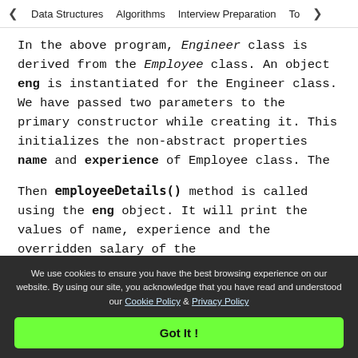< Data Structures   Algorithms   Interview Preparation   To>
In the above program, Engineer class is derived from the Employee class. An object eng is instantiated for the Engineer class. We have passed two parameters to the primary constructor while creating it. This initializes the non-abstract properties name and experience of Employee class. The
Then employeeDetails() method is called using the eng object. It will print the values of name, experience and the overridden salary of the
We use cookies to ensure you have the best browsing experience on our website. By using our site, you acknowledge that you have read and understood our Cookie Policy & Privacy Policy
Got It !